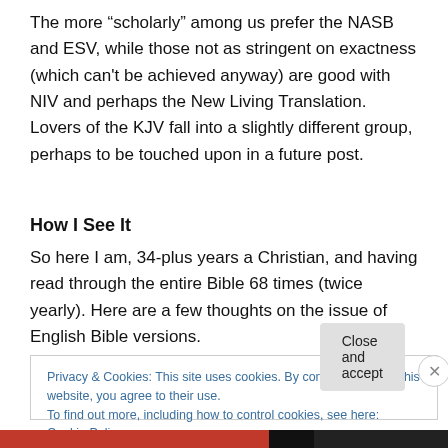The more “scholarly” among us prefer the NASB and ESV, while those not as stringent on exactness (which can't be achieved anyway) are good with NIV and perhaps the New Living Translation. Lovers of the KJV fall into a slightly different group, perhaps to be touched upon in a future post.
How I See It
So here I am, 34-plus years a Christian, and having read through the entire Bible 68 times (twice yearly). Here are a few thoughts on the issue of English Bible versions.
Privacy & Cookies: This site uses cookies. By continuing to use this website, you agree to their use.
To find out more, including how to control cookies, see here: Cookie Policy
Close and accept